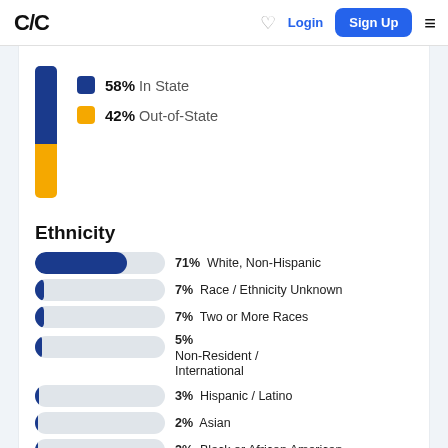C/C  Login  Sign Up
[Figure (stacked-bar-chart): In State vs Out-of-State]
Ethnicity
[Figure (bar-chart): Ethnicity breakdown]